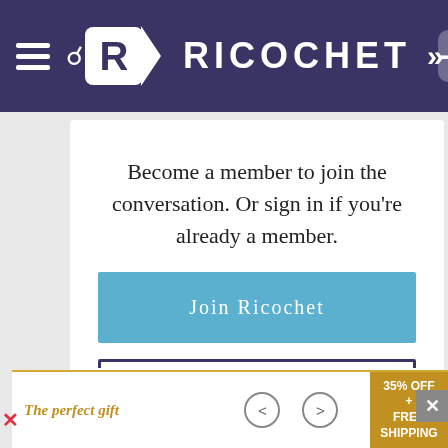RICOCHET
Become a member to join the conversation. Or sign in if you're already a member.
[Figure (screenshot): Join Ricochet button - blue rounded rectangle with white text]
[Figure (screenshot): Login button - white rectangle with dark navy border and text]
[Figure (screenshot): Pencil/edit icon above HAVE SOMETHING TO SAY? text]
HAVE SOMETHING TO SAY?
[Figure (infographic): Advertisement banner: The perfect gift with navigation arrows and 35% OFF + FREE SHIPPING offer badge]